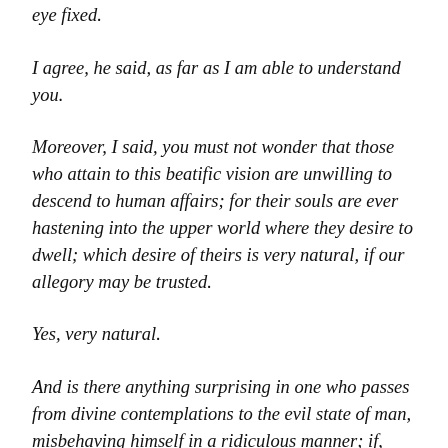eye fixed.
I agree, he said, as far as I am able to understand you.
Moreover, I said, you must not wonder that those who attain to this beatific vision are unwilling to descend to human affairs; for their souls are ever hastening into the upper world where they desire to dwell; which desire of theirs is very natural, if our allegory may be trusted.
Yes, very natural.
And is there anything surprising in one who passes from divine contemplations to the evil state of man, misbehaving himself in a ridiculous manner; if, while